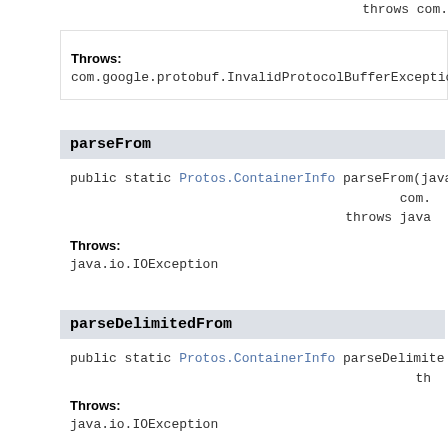throws com.
Throws:
com.google.protobuf.InvalidProtocolBufferExceptio
parseFrom
public static Protos.ContainerInfo parseFrom(java
                                        com.
                    throws java
Throws:
java.io.IOException
parseDelimitedFrom
public static Protos.ContainerInfo parseDelimite
                                          th
Throws:
java.io.IOException